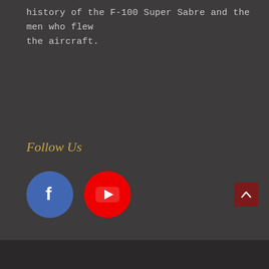history of the F-100 Super Sabre and the men who flew the aircraft.
Follow Us
[Figure (logo): Facebook circle icon (blue background with white 'f' lettermark) and YouTube circle icon (red background with white play button triangle)]